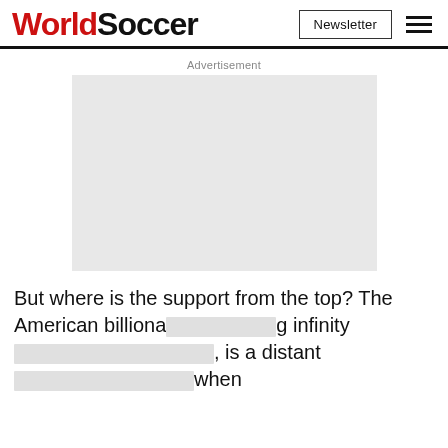WorldSoccer | Newsletter
Advertisement
[Figure (other): Grey advertisement placeholder box]
But where is the support from the top? The American billionaire Steve Kaplan, holder of a seemingly infinity [obscured], is a distant [obscured] when